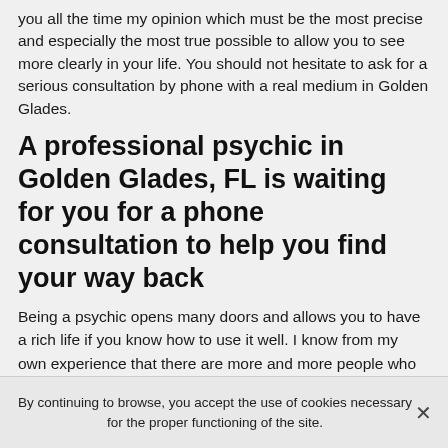you all the time my opinion which must be the most precise and especially the most true possible to allow you to see more clearly in your life. You should not hesitate to ask for a serious consultation by phone with a real medium in Golden Glades.
A professional psychic in Golden Glades, FL is waiting for you for a phone consultation to help you find your way back
Being a psychic opens many doors and allows you to have a rich life if you know how to use it well. I know from my own experience that there are more and more people who claim to be psychics, mediums, tarot readers and the like, but who do not have the experience and background that I do. I am sure that many of them are not able to really help
By continuing to browse, you accept the use of cookies necessary for the proper functioning of the site.